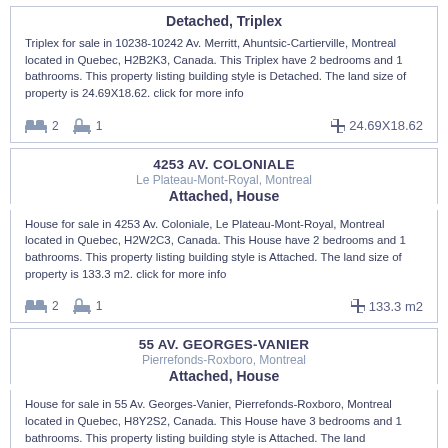Detached, Triplex
Triplex for sale in 10238-10242 Av. Merritt, Ahuntsic-Cartierville, Montreal located in Quebec, H2B2K3, Canada. This Triplex have 2 bedrooms and 1 bathrooms. This property listing building style is Detached. The land size of property is 24.69X18.62. click for more info
🛏 2   🚿 1   ✛ 24.69X18.62
4253 AV. COLONIALE
Le Plateau-Mont-Royal, Montreal
Attached, House
House for sale in 4253 Av. Coloniale, Le Plateau-Mont-Royal, Montreal located in Quebec, H2W2C3, Canada. This House have 2 bedrooms and 1 bathrooms. This property listing building style is Attached. The land size of property is 133.3 m2. click for more info
🛏 2   🚿 1   ✛ 133.3 m2
55 AV. GEORGES-VANIER
Pierrefonds-Roxboro, Montreal
Attached, House
House for sale in 55 Av. Georges-Vanier, Pierrefonds-Roxboro, Montreal located in Quebec, H8Y2S2, Canada. This House have 3 bedrooms and 1 bathrooms. This property listing building style is Attached. The land